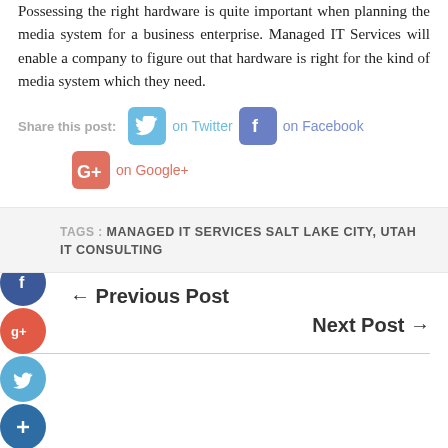Possessing the right hardware is quite important when planning the media system for a business enterprise. Managed IT Services will enable a company to figure out that hardware is right for the kind of media system which they need.
Share this post:  on Twitter  on Facebook  on Google+
TAGS : MANAGED IT SERVICES SALT LAKE CITY, UTAH IT CONSULTING
← Previous Post
Next Post →